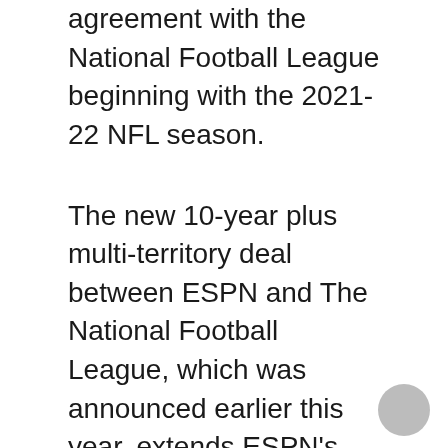agreement with the National Football League beginning with the 2021-22 NFL season.
The new 10-year plus multi-territory deal between ESPN and The National Football League, which was announced earlier this year, extends ESPN’s partnership with the NFL through the 2032/33 season.
ESPN viewers will see more NFL content than ever before across ESPN, ESPN2, the ESPN App, ESPN.com.au and social platforms.
ESPN’s core NFL broadcast package in Australia and New Zealand for season 2021-22 includes: